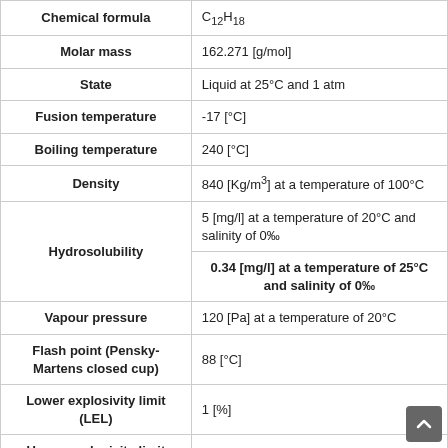| Property | Value |
| --- | --- |
| Chemical formula | C₁₂H₁₈ |
| Molar mass | 162.271 [g/mol] |
| State | Liquid at 25°C and 1 atm |
| Fusion temperature | -17 [°C] |
| Boiling temperature | 240 [°C] |
| Density | 840 [Kg/m³] at a temperature of 100°C |
| Hydrosolubility | 5 [mg/l] at a temperature of 20°C and salinity of 0‰
0.34 [mg/l] at a temperature of 25°C and salinity of 0‰ |
| Vapour pressure | 120 [Pa] at a temperature of 20°C |
| Flash point (Pensky-Martens closed cup) | 88 [°C] |
| Lower explosivity limit (LEL) | 1 [%] |
| Upper explosivity limit (UEL) | 4 [%] |